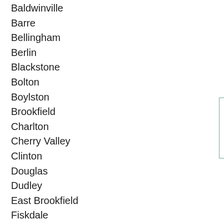Baldwinville
Barre
Bellingham
Berlin
Blackstone
Bolton
Boylston
Brookfield
Charlton
Cherry Valley
Clinton
Douglas
Dudley
East Brookfield
Fiskdale
Fitchburg
Franklin